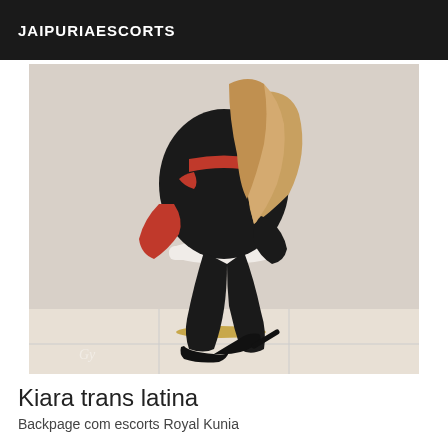JAIPURIAESCORTS
[Figure (photo): A woman posing on a white barstool, wearing black outfit with red accents, red gloves, black stockings and high heels, photographed from behind/side]
Kiara trans latina
Backpage com escorts Royal Kunia